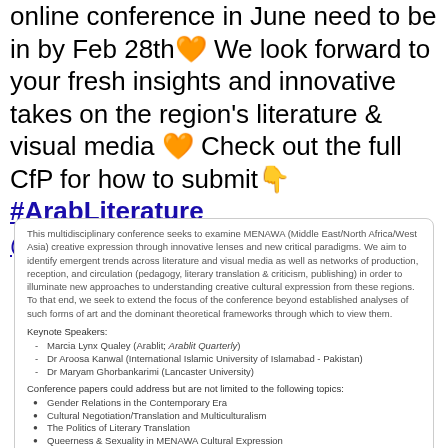online conference in June need to be in by Feb 28th🧡 We look forward to your fresh insights and innovative takes on the region's literature & visual media 🧡 Check out the full CfP for how to submit👇 #ArabLiterature @lancaster_words
[Figure (screenshot): Embedded conference call-for-papers card with body text about MENAWA interdisciplinary conference, keynote speakers list, and bullet-pointed conference topics.]